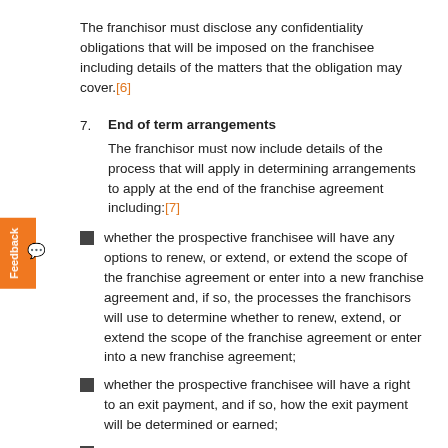The franchisor must disclose any confidentiality obligations that will be imposed on the franchisee including details of the matters that the obligation may cover.[6]
7. End of term arrangements
The franchisor must now include details of the process that will apply in determining arrangements to apply at the end of the franchise agreement including:[7]
whether the prospective franchisee will have any options to renew, or extend, or extend the scope of the franchise agreement or enter into a new franchise agreement and, if so, the processes the franchisors will use to determine whether to renew, extend, or extend the scope of the franchise agreement or enter into a new franchise agreement;
whether the prospective franchisee will have a right to an exit payment, and if so, how the exit payment will be determined or earned;
the arrangements that will apply to unsold stock,